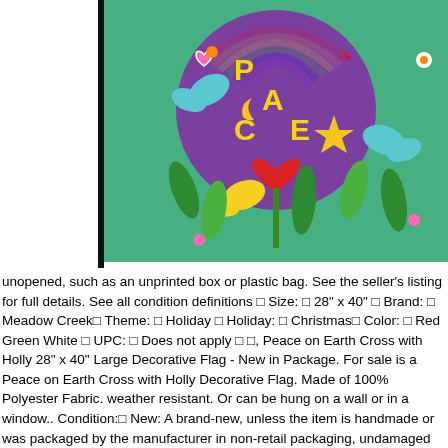[Figure (photo): Colorful decorative garden flag showing a peace sign with butterflies, hearts, flowers, rainbow, moon and star on a purple background, displayed on a black flag pole. Bright colors including purple, green, yellow, red, blue.]
unopened, such as an unprinted box or plastic bag. See the seller's listing for full details. See all condition definitions ꀀ Size: ꀀ 28" x 40" ꀀ Brand: ꀀ Meadow Creek ꀀ Theme: ꀀ Holiday ꀀ Holiday: ꀀ Christmas ꀀ Color: ꀀ Red Green White ꀀ UPC: ꀀ Does not apply ꀀ ꀀ, Peace on Earth Cross with Holly 28" x 40" Large Decorative Flag - New in Package. For sale is a Peace on Earth Cross with Holly Decorative Flag. Made of 100% Polyester Fabric. weather resistant. Or can be hung on a wall or in a window.. Condition: ꀀ New: A brand-new, unless the item is handmade or was packaged by the manufacturer in non-retail packaging, undamaged item in its original packaging (where packaging is applicable). Packaging should be the same as what is found in a retail